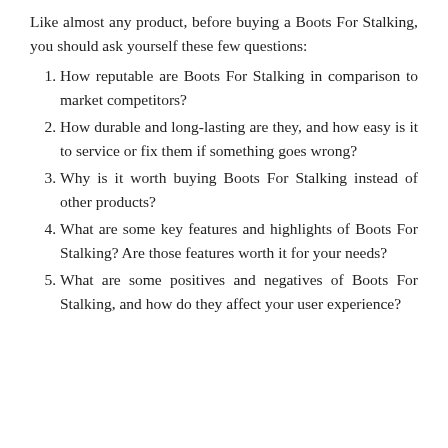Like almost any product, before buying a Boots For Stalking, you should ask yourself these few questions:
How reputable are Boots For Stalking in comparison to market competitors?
How durable and long-lasting are they, and how easy is it to service or fix them if something goes wrong?
Why is it worth buying Boots For Stalking instead of other products?
What are some key features and highlights of Boots For Stalking? Are those features worth it for your needs?
What are some positives and negatives of Boots For Stalking, and how do they affect your user experience?